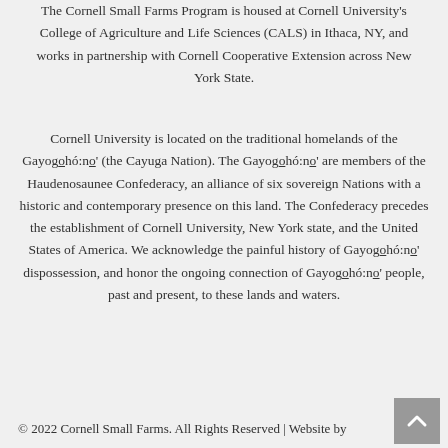The Cornell Small Farms Program is housed at Cornell University's College of Agriculture and Life Sciences (CALS) in Ithaca, NY, and works in partnership with Cornell Cooperative Extension across New York State.
Cornell University is located on the traditional homelands of the Gayogọhó:nọ' (the Cayuga Nation). The Gayogọhó:nọ' are members of the Haudenosaunee Confederacy, an alliance of six sovereign Nations with a historic and contemporary presence on this land. The Confederacy precedes the establishment of Cornell University, New York state, and the United States of America. We acknowledge the painful history of Gayogọhó:nọ' dispossession, and honor the ongoing connection of Gayogọhó:nọ' people, past and present, to these lands and waters.
© 2022 Cornell Small Farms. All Rights Reserved | Website by